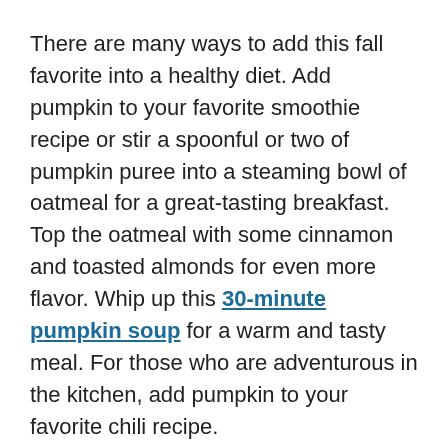There are many ways to add this fall favorite into a healthy diet. Add pumpkin to your favorite smoothie recipe or stir a spoonful or two of pumpkin puree into a steaming bowl of oatmeal for a great-tasting breakfast. Top the oatmeal with some cinnamon and toasted almonds for even more flavor. Whip up this 30-minute pumpkin soup for a warm and tasty meal. For those who are adventurous in the kitchen, add pumpkin to your favorite chili recipe.
“You can easily transform [a] common dish into something spectacular”,